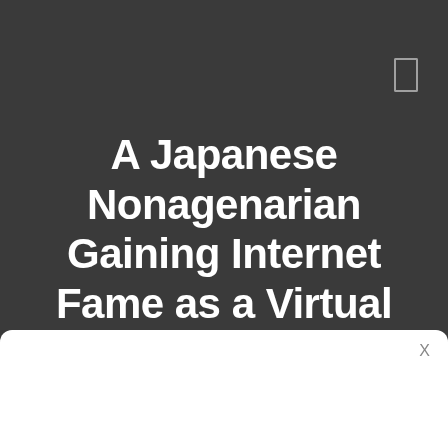A Japanese Nonagenarian Gaining Internet Fame as a Virtual Race Car Driver
[Figure (other): Small rectangle icon (UI element) in the top right corner of the dark background area]